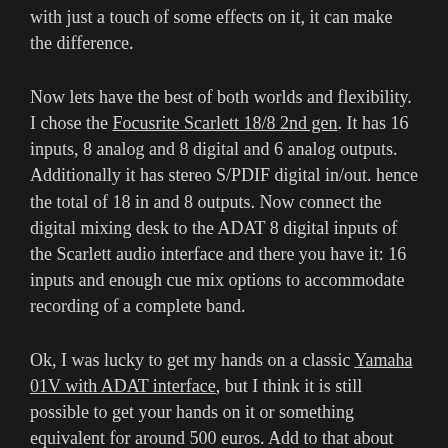with just a touch of some effects on it, it can make the difference.
Now lets have the best of both worlds and flexibility. I chose the Focusrite Scarlett 18/8 2nd gen. It has 16 inputs, 8 analog and 8 digital and 6 analog outputs. Additionally it has stereo S/PDIF digital in/out. hence the total of 18 in and 8 outputs. Now connect the digital mixing desk to the ADAT 8 digital inputs of the Scarlett audio interface and there you have it: 16 inputs and enough cue mix options to accommodate recording of a complete band.
Ok, I was lucky to get my hands on a classic Yamaha 01V with ADAT interface, but I think it is still possible to get your hands on it or something equivalent for around 500 euros. Add to that about 300 euro's for the Focusrite and there you have it: an affordable and also flexible setup that can